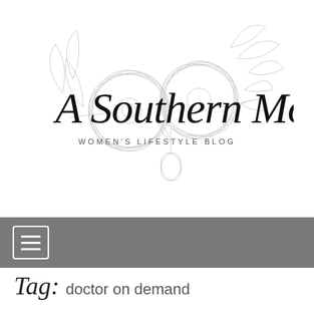[Figure (logo): A Southern Mother - Women's Lifestyle Blog logo with script text over floral line art illustration]
[Figure (other): Gray navigation bar with hamburger menu icon (three horizontal lines in a rounded rectangle button)]
Tag: doctor on demand